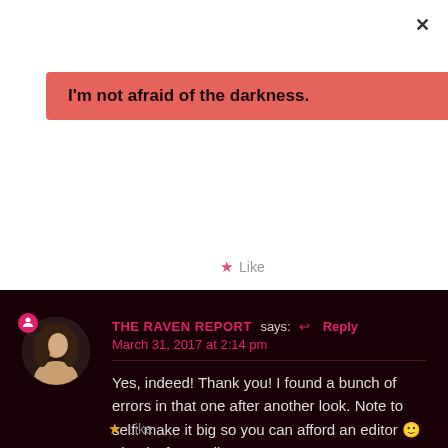×
I'm not afraid of the darkness.
★ Like
THE RAVEN REPORT says: ↩ Reply
March 31, 2017 at 2:14 pm
Yes, indeed! Thank you! I found a bunch of errors in that one after another look. Note to self: make it big so you can afford an editor 🙂 Thanks for reading, Jen
★ Like